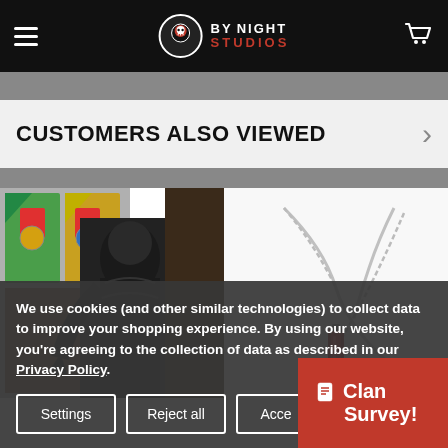By Night Studios
CUSTOMERS ALSO VIEWED
[Figure (photo): Two product images side by side: left shows a dark fantasy figurine/character in black leather in front of stained glass background; right shows a red crystal vial pendant on a silver chain necklace against white background]
We use cookies (and other similar technologies) to collect data to improve your shopping experience. By using our website, you're agreeing to the collection of data as described in our Privacy Policy.
Settings | Reject all | Accept
Clan Survey!